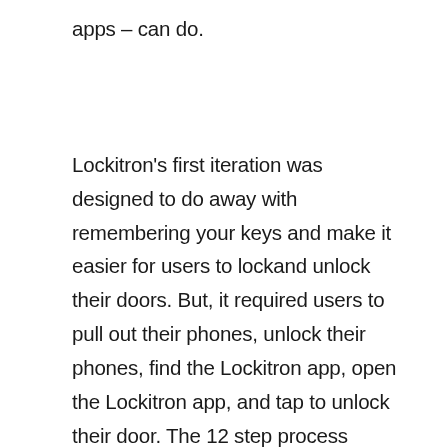apps – can do.
Lockitron's first iteration was designed to do away with remembering your keys and make it easier for users to lockand unlock their doors. But, it required users to pull out their phones, unlock their phones, find the Lockitron app, open the Lockitron app, and tap to unlock their door. The 12 step process Krishna diagrams is somewhat startling because it is not exclusive to Lockitron. It's not a design flaw in the Lockitron app – it's how all of our apps work. And it does